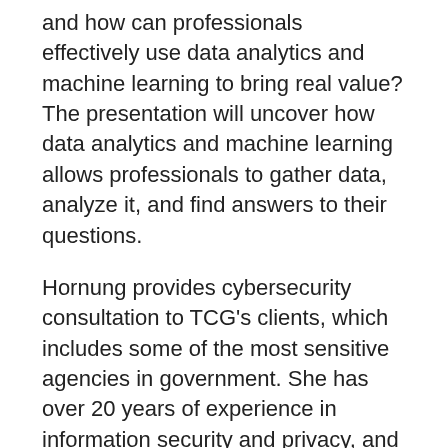and how can professionals effectively use data analytics and machine learning to bring real value? The presentation will uncover how data analytics and machine learning allows professionals to gather data, analyze it, and find answers to their questions.
Hornung provides cybersecurity consultation to TCG's clients, which includes some of the most sensitive agencies in government. She has over 20 years of experience in information security and privacy, and certifications including Sherwood Applied Business Security Architecture (SABSA) Foundation and Chartered Foundation (SCF), Practitioner (SCPA), Architectural Design and Practitioner (SCPR) in Risk Assurance and Governance, and Certified Information Privacy Professional (CIPP-US). She has worked with a variety of federal agencies providing enterprise